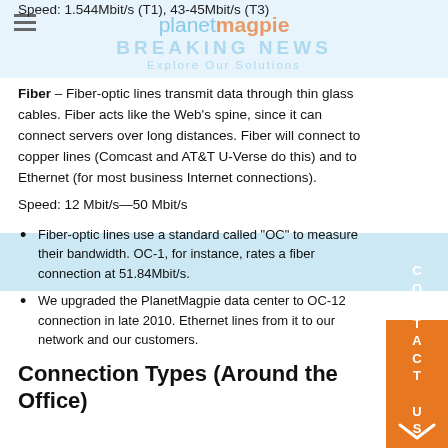Speed: 1.544Mbit/s (T1), 43-45Mbit/s (T3)
Fiber – Fiber-optic lines transmit data through thin glass cables. Fiber acts like the Web's spine, since it can connect servers over long distances. Fiber will connect to copper lines (Comcast and AT&T U-Verse do this) and to Ethernet (for most business Internet connections).
Speed: 12 Mbit/s—50 Mbit/s
Fiber-optic lines use a standard called "OC" to measure their bandwidth. OC-1, for instance, rates a fiber connection at 51.84Mbit/s.
We upgraded the PlanetMagpie data center to OC-12 connection in late 2010. Ethernet lines from it to our network and our customers.
Connection Types (Around the Office)